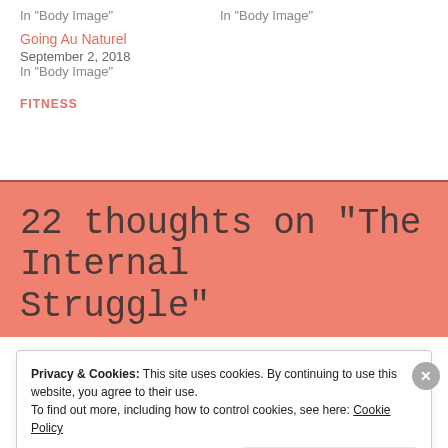In "Body Image"
In "Body Image"
Going Au Naturel
September 2, 2018
In "Body Image"
FITNESS
22 thoughts on “The Internal Struggle”
Privacy & Cookies: This site uses cookies. By continuing to use this website, you agree to their use.
To find out more, including how to control cookies, see here: Cookie Policy
Close and accept